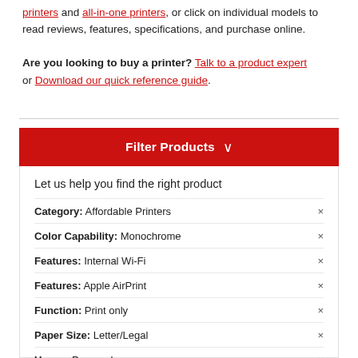printers and all-in-one printers, or click on individual models to read reviews, features, specifications, and purchase online.
Are you looking to buy a printer? Talk to a product expert or Download our quick reference guide.
Filter Products
Let us help you find the right product
Category: Affordable Printers
Color Capability: Monochrome
Features: Internal Wi-Fi
Features: Apple AirPrint
Function: Print only
Paper Size: Letter/Legal
Usage: Personal